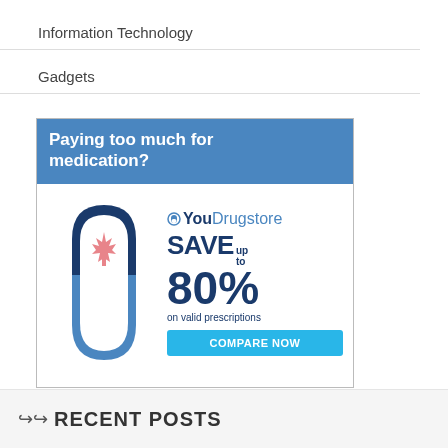Information Technology
Gadgets
[Figure (illustration): YouDrugstore advertisement: 'Paying too much for medication? SAVE up to 80% on valid prescriptions. COMPARE NOW']
RECENT POSTS